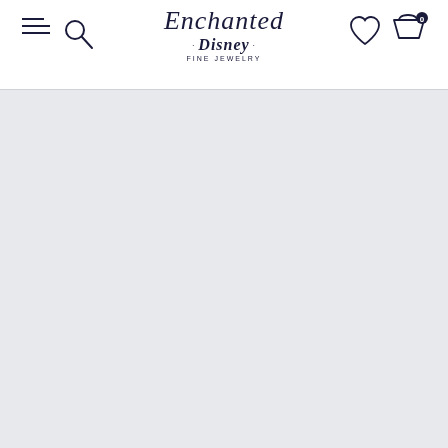Enchanted Disney Fine Jewelry — navigation header with menu, search, wishlist, and cart icons
[Figure (screenshot): Main content area — blank/loading grey page background below the header]